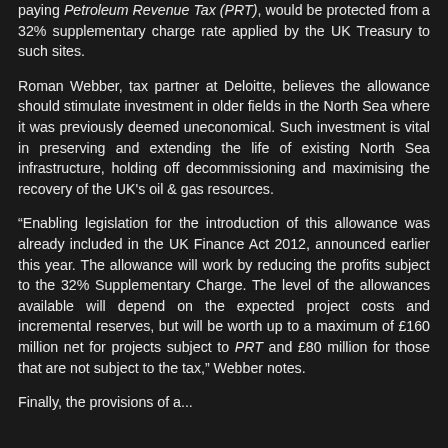paying Petroleum Revenue Tax (PRT), would be protected from a 32% supplementary charge rate applied by the UK Treasury to such sites.
Roman Webber, tax partner at Deloitte, believes the allowance should stimulate investment in older fields in the North Sea where it was previously deemed uneconomical. Such investment is vital in preserving and extending the life of existing North Sea infrastructure, holding off decommissioning and maximising the recovery of the UK's oil & gas resources.
“Enabling legislation for the introduction of this allowance was already included in the UK Finance Act 2012, announced earlier this year. The allowance will work by reducing the profits subject to the 32% Supplementary Charge. The level of the allowances available will depend on the expected project costs and incremental reserves, but will be worth up to a maximum of £160 million net for projects subject to PRT and £80 million for those that are not subject to the tax,” Webber notes.
Finally, the provisions of a...